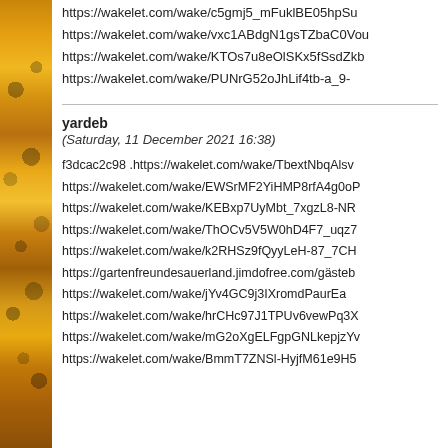https://wakelet.com/wake/c5gmj5_mFuklBE05hpSu
https://wakelet.com/wake/vxc1ABdgN1gsTZbaC0Vou
https://wakelet.com/wake/KTOs7u8eOlSKx5fSsdZkb
https://wakelet.com/wake/PUNrG52oJhLif4tb-a_9-
yardeb
(Saturday, 11 December 2021 16:38)
f3dcac2c98 .https://wakelet.com/wake/TbextNbqAlsv
https://wakelet.com/wake/EWSrMF2YiHMP8rfA4g0oP
https://wakelet.com/wake/KEBxp7UyMbt_7xgzL8-NR
https://wakelet.com/wake/ThOCv5V5W0hD4F7_uqz7
https://wakelet.com/wake/k2RHSz9fQyyLeH-87_7CH
https://gartenfreundesauerland.jimdofree.com/gästeb
https://wakelet.com/wake/jYv4GC9j3IXromdPaurEa
https://wakelet.com/wake/hrCHc97J1TPUv6vewPq3X
https://wakelet.com/wake/mG2oXgELFgpGNLkepjzYv
https://wakelet.com/wake/BmmT7ZNSl-HyjfM61e9H5